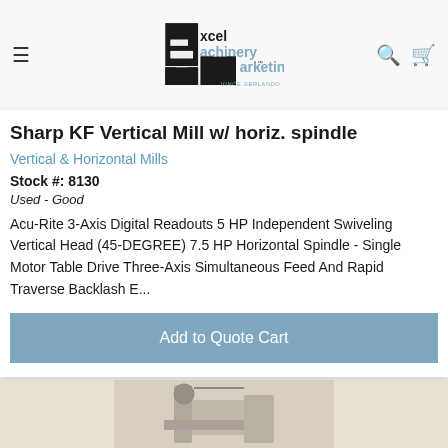[Figure (logo): Excel Machinery Marketing logo with stylized EMM letters and 'VINCE GERLANDO' text below]
Sharp KF Vertical Mill w/ horiz. spindle
Vertical & Horizontal Mills
Stock #: 8130
Used - Good
Acu-Rite 3-Axis Digital Readouts 5 HP Independent Swiveling Vertical Head (45-DEGREE) 7.5 HP Horizontal Spindle - Single Motor Table Drive Three-Axis Simultaneous Feed And Rapid Traverse Backlash E...
Add to Quote Cart
[Figure (photo): Partial view of a Sharp KF vertical/horizontal milling machine]